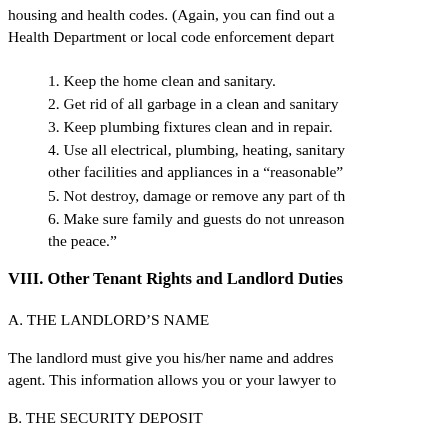housing and health codes. (Again, you can find out a Health Department or local code enforcement depart
1. Keep the home clean and sanitary.
2. Get rid of all garbage in a clean and sanitary
3. Keep plumbing fixtures clean and in repair.
4. Use all electrical, plumbing, heating, sanitary other facilities and appliances in a “reasonable”
5. Not destroy, damage or remove any part of th
6. Make sure family and guests do not unreason the peace.”
VIII. Other Tenant Rights and Landlord Duties
A. THE LANDLORD’S NAME
The landlord must give you his/her name and addres agent. This information allows you or your lawyer to
B. THE SECURITY DEPOSIT